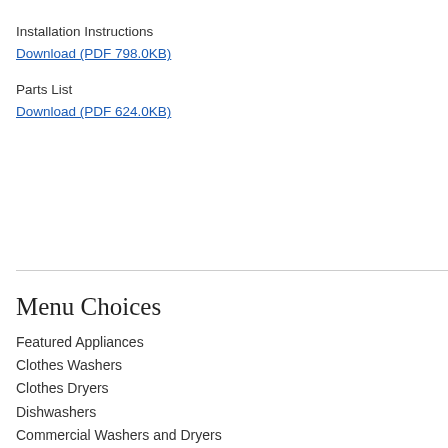Installation Instructions
Download (PDF 798.0KB)
Parts List
Download (PDF 624.0KB)
Menu Choices
Featured Appliances
Clothes Washers
Clothes Dryers
Dishwashers
Commercial Washers and Dryers